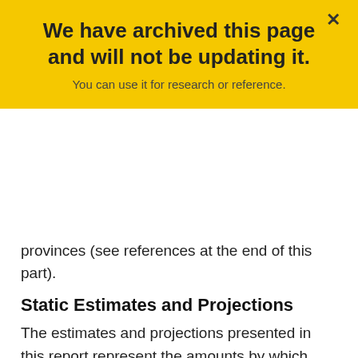[Figure (infographic): Yellow archive banner overlay with bold title 'We have archived this page and will not be updating it.' and subtitle 'You can use it for research or reference.' with a close X button.]
provinces (see references at the end of this part).
Static Estimates and Projections
The estimates and projections presented in this report represent the amounts by which federal revenues are reduced due to the existence of each tax expenditure, assuming all other factors remain unchanged. More specifically, the estimates and projections